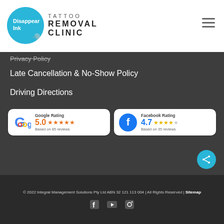[Figure (logo): Disappear Ink Tattoo Removal Clinic logo with blue circle and hamburger menu]
Privacy Policy
Late Cancellation & No-Show Policy
Driving Directions
[Figure (infographic): Google Rating 5.0 stars based on 85 reviews and Facebook Rating 4.7 stars based on 35 reviews badges]
© 2022 Integral Management Solutions Pty Ltd ABN 32 121 113 004 | All Rights Reserved | Sitemap